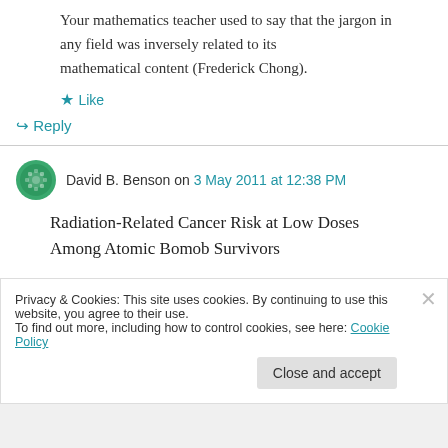Your mathematics teacher used to say that the jargon in any field was inversely related to its mathematical content (Frederick Chong).
★ Like
↪ Reply
David B. Benson on 3 May 2011 at 12:38 PM
Radiation-Related Cancer Risk at Low Doses Among Atomic Bomob Survivors
Privacy & Cookies: This site uses cookies. By continuing to use this website, you agree to their use. To find out more, including how to control cookies, see here: Cookie Policy
Close and accept